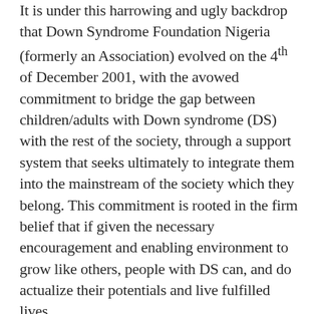It is under this harrowing and ugly backdrop that Down Syndrome Foundation Nigeria (formerly an Association) evolved on the 4th of December 2001, with the avowed commitment to bridge the gap between children/adults with Down syndrome (DS) with the rest of the society, through a support system that seeks ultimately to integrate them into the mainstream of the society which they belong. This commitment is rooted in the firm belief that if given the necessary encouragement and enabling environment to grow like others, people with DS can, and do actualize their potentials and live fulfilled lives.